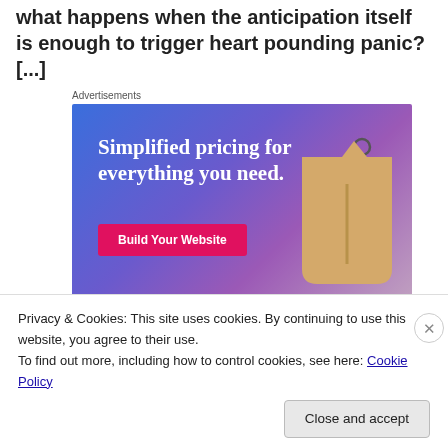what happens when the anticipation itself is enough to trigger heart pounding panic? [...]
[Figure (other): Advertisement banner with gradient blue-purple background showing 'Simplified pricing for everything you need.' text and a 'Build Your Website' pink button, with a 3D price tag illustration on the right.]
Privacy & Cookies: This site uses cookies. By continuing to use this website, you agree to their use.
To find out more, including how to control cookies, see here: Cookie Policy
Close and accept